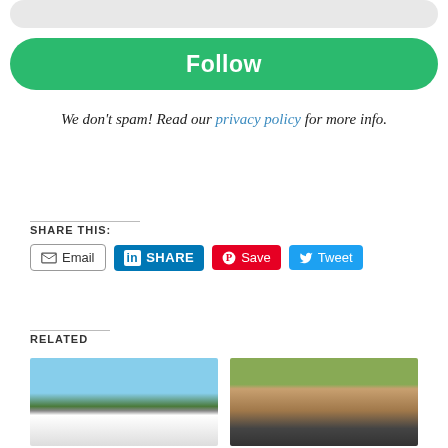Follow
We don't spam! Read our privacy policy for more info.
SHARE THIS:
Email  SHARE  Save  Tweet
RELATED
[Figure (photo): Building with flags]
[Figure (photo): Person in front of colorful background]